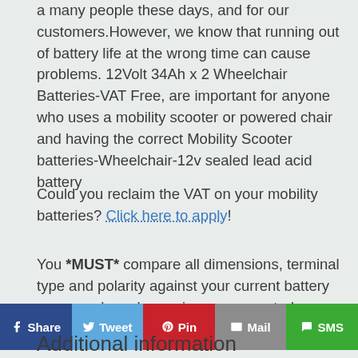a many people these days, and for our customers.However, we know that running out of battery life at the wrong time can cause problems. 12Volt 34Ah x 2 Wheelchair Batteries-VAT Free, are important for anyone who uses a mobility scooter or powered chair and having the correct Mobility Scooter batteries-Wheelchair-12v sealed lead acid battery
Could you reclaim the VAT on your mobility batteries? Click here to apply!
You *MUST* compare all dimensions, terminal type and polarity against your current battery once you have been given a suggested battery.
Additional information